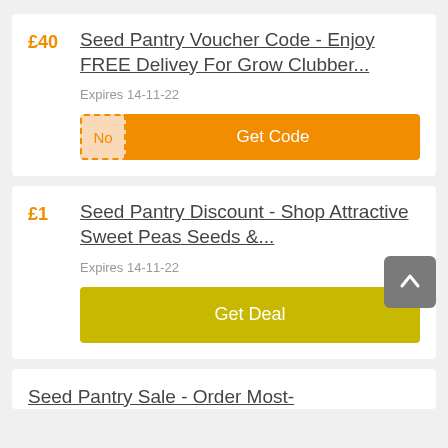Seed Pantry Voucher Code - Enjoy FREE Delivey For Grow Clubber...
£40
Expires 14-11-22
No | Get Code
Seed Pantry Discount - Shop Attractive Sweet Peas Seeds &...
£1
Expires 14-11-22
Get Deal
Seed Pantry Sale - Order Most-